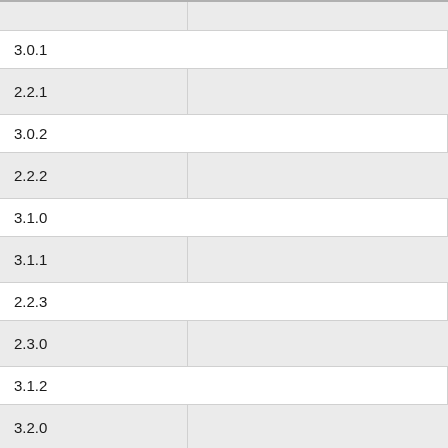|  |  |
| 3.0.1 |  |
| 2.2.1 |  |
| 3.0.2 |  |
| 2.2.2 |  |
| 3.1.0 |  |
| 3.1.1 |  |
| 2.2.3 |  |
| 2.3.0 |  |
| 3.1.2 |  |
| 3.2.0 |  |